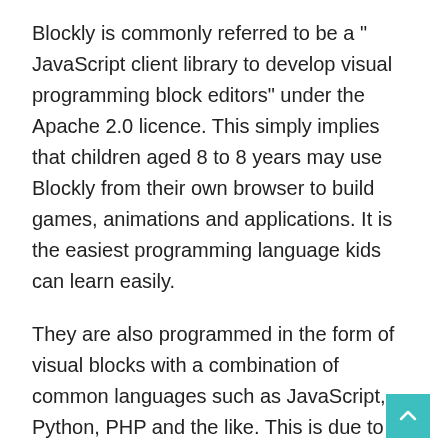Blockly is commonly referred to be a " JavaScript client library to develop visual programming block editors" under the Apache 2.0 licence. This simply implies that children aged 8 to 8 years may use Blockly from their own browser to build games, animations and applications. It is the easiest programming language kids can learn easily.
They are also programmed in the form of visual blocks with a combination of common languages such as JavaScript, Python, PHP and the like. This is due to the JavaScript library of Blockly, effectively a single site to obtain pre-written languages. If the programming language is required, users also can switch (e.g. from Python to PHP).
The user interface of Blockly is particularly colourful and all